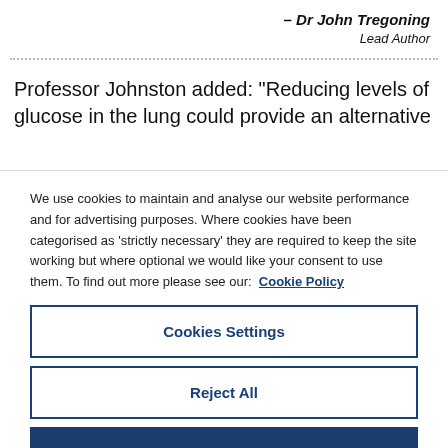– Dr John Tregoning
Lead Author
Professor Johnston added: "Reducing levels of glucose in the lung could provide an alternative
We use cookies to maintain and analyse our website performance and for advertising purposes. Where cookies have been categorised as ‘strictly necessary’ they are required to keep the site working but where optional we would like your consent to use them. To find out more please see our: Cookie Policy
Cookies Settings
Reject All
Accept All Cookies